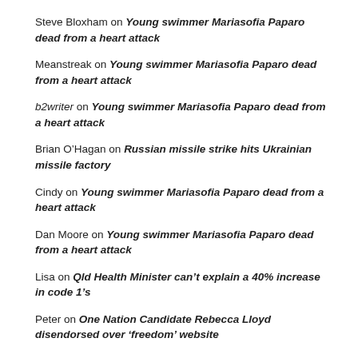Steve Bloxham on Young swimmer Mariasofia Paparo dead from a heart attack
Meanstreak on Young swimmer Mariasofia Paparo dead from a heart attack
b2writer on Young swimmer Mariasofia Paparo dead from a heart attack
Brian O'Hagan on Russian missile strike hits Ukrainian missile factory
Cindy on Young swimmer Mariasofia Paparo dead from a heart attack
Dan Moore on Young swimmer Mariasofia Paparo dead from a heart attack
Lisa on Qld Health Minister can't explain a 40% increase in code 1's
Peter on One Nation Candidate Rebecca Lloyd disendorsed over 'freedom' website